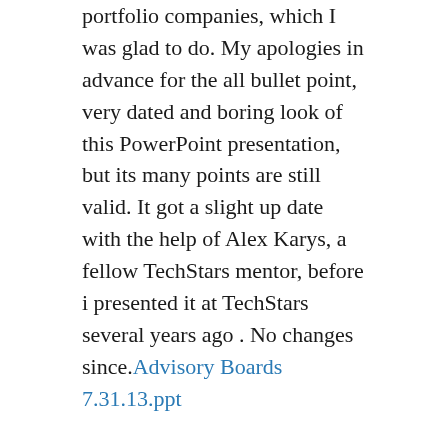portfolio companies, which I was glad to do. My apologies in advance for the all bullet point, very dated and boring look of this PowerPoint presentation, but its many points are still valid. It got a slight up date with the help of Alex Karys, a fellow TechStars mentor, before i presented it at TechStars several years ago . No changes since.Advisory Boards 7.31.13.ppt
One amusing story about SABs, and why you might want to name yours “Group” or “Panel”, instead of “Board”: one day at Mainspring Roger Heinen, the Chairman of the Mainspring SAB, came into our office laughing heartily and waving a sheet of paper in one hand. It turns out we had been hiring staff from a local